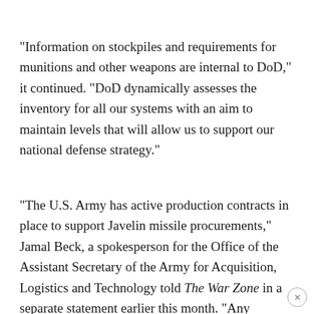"Information on stockpiles and requirements for munitions and other weapons are internal to DoD," it continued. "DoD dynamically assesses the inventory for all our systems with an aim to maintain levels that will allow us to support our national defense strategy."
"The U.S. Army has active production contracts in place to support Javelin missile procurements," Jamal Beck, a spokesperson for the Office of the Assistant Secretary of the Army for Acquisition, Logistics and Technology told The War Zone in a separate statement earlier this month. "Any planned additional funding allocations and associated quantity increases are at the discretion of the President, Congress, and Department of Defense leadership."